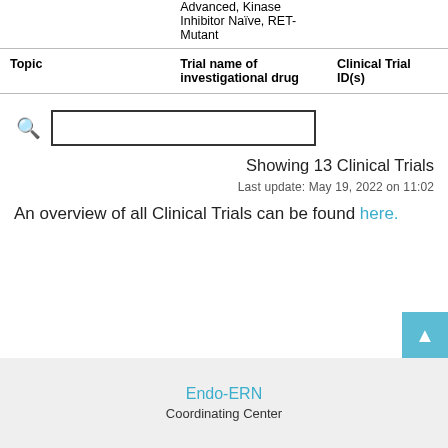| Topic | Trial name of investigational drug | Clinical Trial ID(s) |
| --- | --- | --- |
|  | Advanced, Kinase Inhibitor Naïve, RET-Mutant |  |
[Figure (other): Search bar with magnifying glass icon and empty text input field]
Showing 13 Clinical Trials
Last update: May 19, 2022 on 11:02
An overview of all Clinical Trials can be found here.
Endo-ERN
Coordinating Center